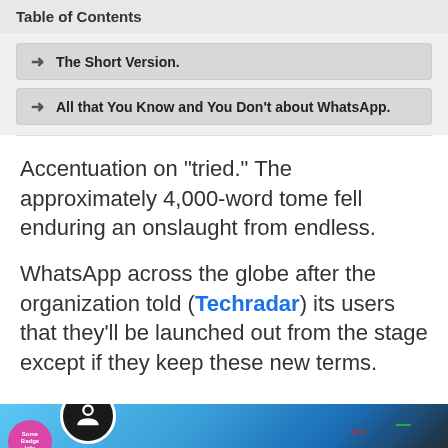Table of Contents
The Short Version.
All that You Know and You Don't about WhatsApp.
Accentuation on "tried." The approximately 4,000-word tome fell enduring an onslaught from endless.
WhatsApp across the globe after the organization told (Techradar) its users that they'll be launched out from the stage except if they keep these new terms.
[Figure (photo): Close-up photo of a smartphone screen showing app icons on a dark background with blue gradient lighting]